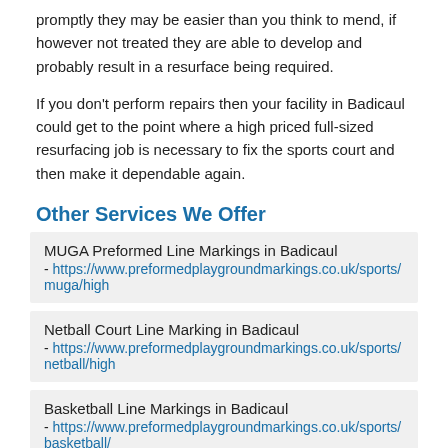promptly they may be easier than you think to mend, if however not treated they are able to develop and probably result in a resurface being required.
If you don't perform repairs then your facility in Badicaul could get to the point where a high priced full-sized resurfacing job is necessary to fix the sports court and then make it dependable again.
Other Services We Offer
MUGA Preformed Line Markings in Badicaul - https://www.preformedplaygroundmarkings.co.uk/sports/muga/high
Netball Court Line Marking in Badicaul - https://www.preformedplaygroundmarkings.co.uk/sports/netball/high
Basketball Line Markings in Badicaul - https://www.preformedplaygroundmarkings.co.uk/sports/basketball/